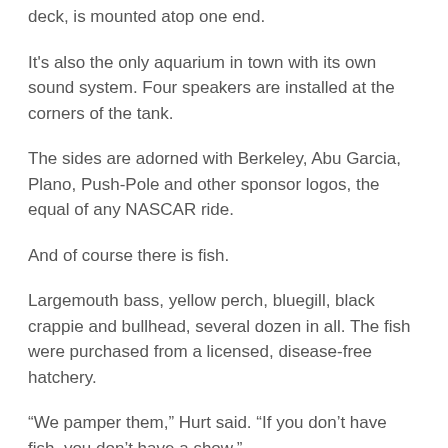deck, is mounted atop one end.
It's also the only aquarium in town with its own sound system. Four speakers are installed at the corners of the tank.
The sides are adorned with Berkeley, Abu Garcia, Plano, Push-Pole and other sponsor logos, the equal of any NASCAR ride.
And of course there is fish.
Largemouth bass, yellow perch, bluegill, black crappie and bullhead, several dozen in all. The fish were purchased from a licensed, disease-free hatchery.
“We pamper them,” Hurt said. “If you don’t have fish, you don’t have a show.”
A sign of the care given to the finned attractions, the drinking